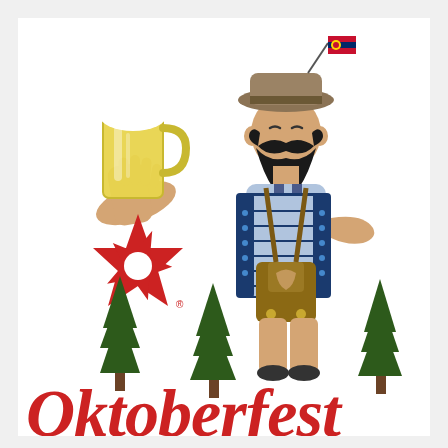[Figure (illustration): Oktoberfest illustration: a cartoon man with a large black mustache and beard wearing a traditional Bavarian hat with a Colorado state flag, holding up a beer mug in one hand and playing an accordion. A red star/snowflake decorative logo with registered trademark symbol is on the lower left. Three green pine trees are near the bottom. Large red gothic-style text reading 'Oktoberfest' appears at the bottom.]